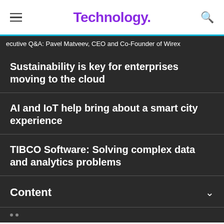Technology.
ecutive Q&A: Pavel Matveev, CEO and Co-Founder of Wirex
Sustainability is key for enterprises moving to the cloud
AI and IoT help bring about a smart city experience
TIBCO Software: Solving complex data and analytics problems
Content